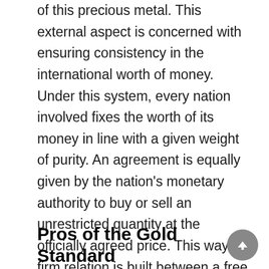of this precious metal. This external aspect is concerned with ensuring consistency in the international worth of money. Under this system, every nation involved fixes the worth of its money in line with a given weight of purity. An agreement is equally given by the nation's monetary authority to buy or sell an unrestricted quantity at the officially agreed price. This way, a firm relation is built between a free movement of this metal and the currency unit of various countries in order to maintain a stable exchange cost.
Pros of the Gold Standard